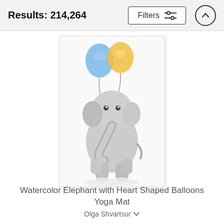Results: 214,264
[Figure (screenshot): Filters button with sliders icon and an up-arrow circle button in a light gray top bar]
[Figure (photo): Watercolor illustration of a baby elephant holding two balloons (blue and yellow) on a white background, shown as a product image for a yoga mat]
Watercolor Elephant with Heart Shaped Balloons Yoga Mat
Olga Shvartsur
$62
$50